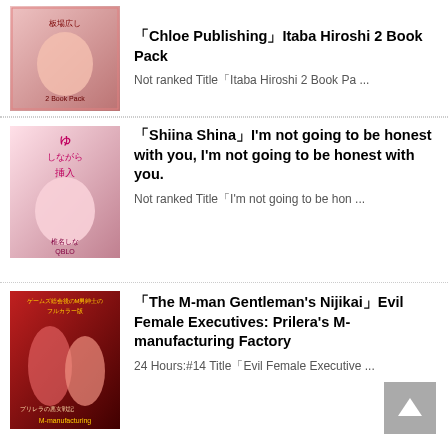[Figure (illustration): Manga/anime style book cover thumbnail for Chloe Publishing Itaba Hiroshi 2 Book Pack]
「Chloe Publishing」Itaba Hiroshi 2 Book Pack
Not ranked Title「Itaba Hiroshi 2 Book Pa ...
[Figure (illustration): Manga/anime style book cover thumbnail for Shiina Shina title]
「Shiina Shina」I’m not going to be honest with you, I’m not going to be honest with you.
Not ranked Title「I’m not going to be hon ...
[Figure (illustration): Manga/anime style book cover thumbnail for The M-man Gentleman's Nijikai Evil Female Executives]
「The M-man Gentleman’s Nijikai」Evil Female Executives: Prilera’s M-manufacturing Factory
24 Hours:#14 Title「Evil Female Executive ...